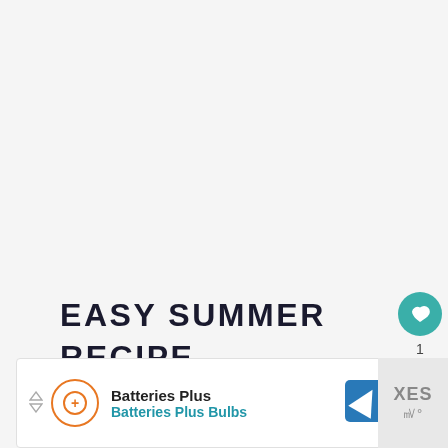EASY SUMMER RECIPE FOR
[Figure (other): Heart/like button (teal circle with heart icon), count '1', and share button (white circle with share icon)]
[Figure (other): Advertisement banner: Batteries Plus Batteries Plus Bulbs with orange logo and blue navigation arrow icon]